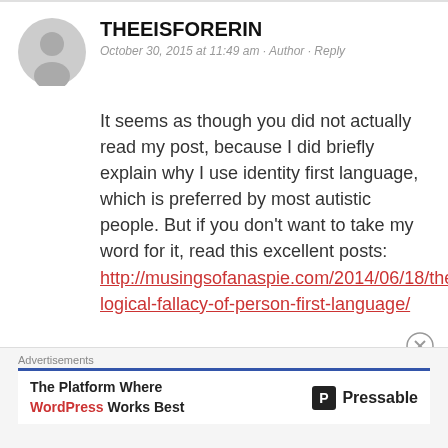[Figure (illustration): Gray circular avatar/profile placeholder icon]
THEEISFORERIN
October 30, 2015 at 11:49 am · Author · Reply
It seems as though you did not actually read my post, because I did briefly explain why I use identity first language, which is preferred by most autistic people. But if you don't want to take my word for it, read this excellent posts: http://musingsofanaspie.com/2014/06/18/the-logical-fallacy-of-person-first-language/
Advertisements
The Platform Where WordPress Works Best — Pressable